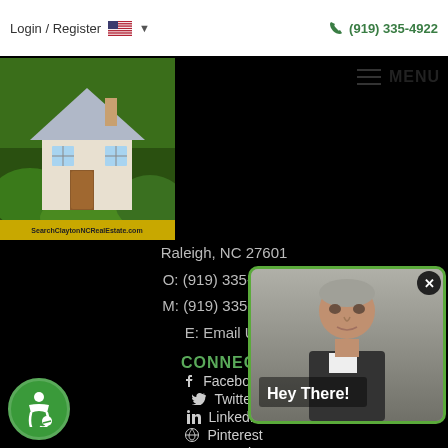Login / Register   (919) 335-4922
[Figure (logo): Real estate website logo with house image on green grass background and text SearchClaytonNCRealEstate.com]
MENU
Raleigh, NC 27601
O: (919) 335-4922
M: (919) 335-4922
E: Email Us
CONNECT
Facebook
Twitter
LinkedIn
Pinterest
YouTube
[Figure (screenshot): Video popup showing a man with text Hey There! and a close button, with green border]
NAVIGATION